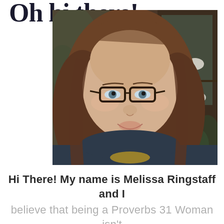Oh hi there!
[Figure (photo): A woman with long brown hair and dark-rimmed glasses, smiling at the camera, wearing a dark navy shirt. Behind her is a dark wood china cabinet with white porcelain dishes. She appears to be taking a selfie.]
Hi There! My name is Melissa Ringstaff and I believe that being a Proverbs 31 Woman isn't